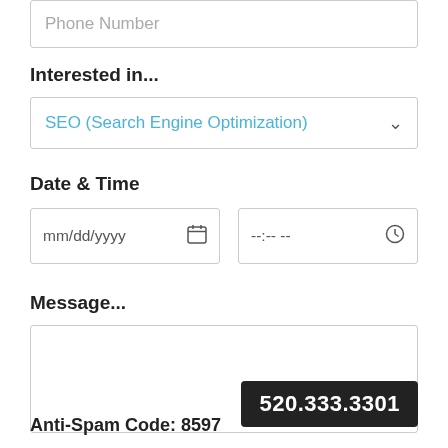Phone Number
Interested in...
SEO (Search Engine Optimization) ⌄
Date & Time
mm/dd/yyyy
--:-- --
Message...
520.333.3301
Anti-Spam Code: 8597